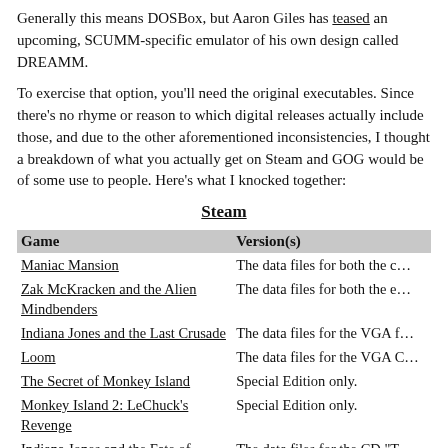Generally this means DOSBox, but Aaron Giles has teased an upcoming, SCUMM-specific emulator of his own design called DREAMM.
To exercise that option, you'll need the original executables. Since there's no rhyme or reason to which digital releases actually include those, and due to the other aforementioned inconsistencies, I thought a breakdown of what you actually get on Steam and GOG would be of some use to people. Here's what I knocked together:
Steam
| Game | Version(s) |
| --- | --- |
| Maniac Mansion | The data files for both the c… |
| Zak McKracken and the Alien Mindbenders | The data files for both the e… |
| Indiana Jones and the Last Crusade | The data files for the VGA f… |
| Loom | The data files for the VGA C… |
| The Secret of Monkey Island | Special Edition only. |
| Monkey Island 2: LeChuck's Revenge | Special Edition only. |
| Indiana Jones and the Fate of Atlantis | The data files for the CD "T… |
| Day of the Tentacle | Remastered version only. |
| Sam & Max Hit the Road | The data files for the CD "… |